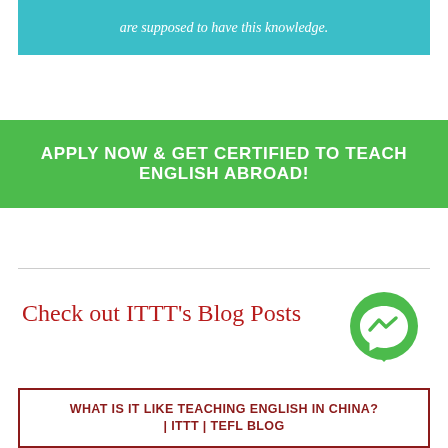are supposed to have this knowledge.
APPLY NOW & GET CERTIFIED TO TEACH ENGLISH ABROAD!
Check out ITTT's Blog Posts
[Figure (logo): Green circular Facebook Messenger icon]
WHAT IS IT LIKE TEACHING ENGLISH IN CHINA? | ITTT | TEFL BLOG